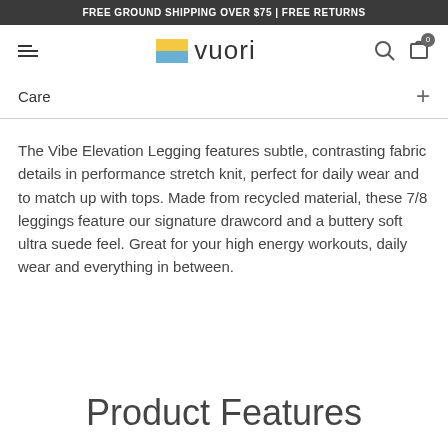FREE GROUND SHIPPING OVER $75 | FREE RETURNS
[Figure (logo): Vuori logo with yellow and blue square icon and wordmark 'vuori']
Care
The Vibe Elevation Legging features subtle, contrasting fabric details in performance stretch knit, perfect for daily wear and to match up with tops. Made from recycled material, these 7/8 leggings feature our signature drawcord and a buttery soft ultra suede feel. Great for your high energy workouts, daily wear and everything in between.
Product Features